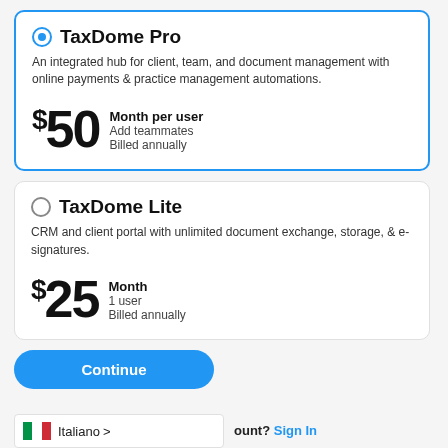TaxDome Pro
An integrated hub for client, team, and document management with online payments & practice management automations.
$50 Month per user Add teammates Billed annually
TaxDome Lite
CRM and client portal with unlimited document exchange, storage, & e-signatures.
$25 Month 1 user Billed annually
Continue
Italiano > ount? Sign In